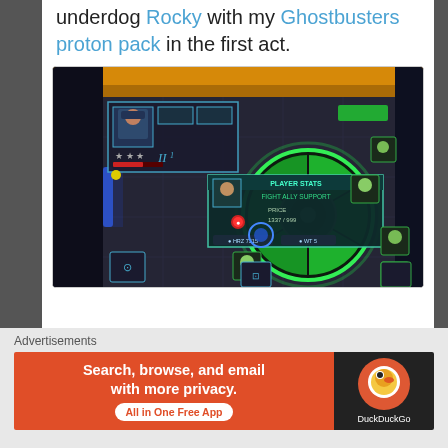underdog Rocky with my Ghostbusters proton pack in the first act.
[Figure (screenshot): Screenshot of a video game showing a top-down view of a dark arena/dungeon. There is a large glowing green circular device in the center. Several small green ghost-like characters are positioned around the map. A player character UI is shown in the top-left corner with weapon icons. A dialog box with character stats is open in the center. The environment features dark stone floors with orange trim architecture visible at the top.]
Advertisements
[Figure (screenshot): DuckDuckGo advertisement banner. Left side has orange background with white text: 'Search, browse, and email with more privacy.' and a white pill button reading 'All in One Free App'. Right side has dark background with DuckDuckGo circular duck logo and 'DuckDuckGo' text in white.]